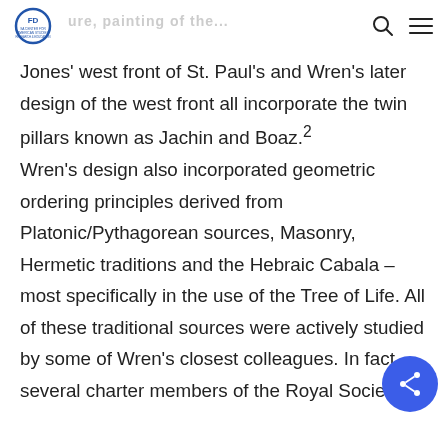FD | SA CENTER FOR AMERICAN STUDIES [logo area with search and menu icons]
Jones' west front of St. Paul's and Wren's later design of the west front all incorporate the twin pillars known as Jachin and Boaz.2 Wren's design also incorporated geometric ordering principles derived from Platonic/Pythagorean sources, Masonry, Hermetic traditions and the Hebraic Cabala – most specifically in the use of the Tree of Life. All of these traditional sources were actively studied by some of Wren's closest colleagues. In fact, several charter members of the Royal Society